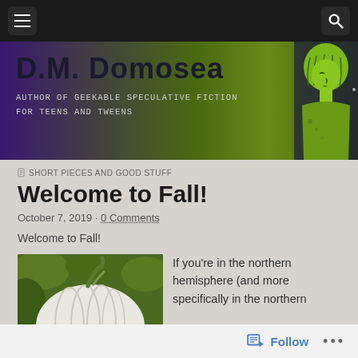Navigation bar with menu and search icons
[Figure (illustration): D.M. Domosea blog banner with purple-green gradient background, bold title text 'D.M. Domosea', subtitle 'Author of Geekable Speculative Fiction for Teens and Tweens', and illustrated green line-art female figure on right]
SHORT PIECES AND GOOD STUFF
Welcome to Fall!
October 7, 2019 · 0 Comments
Welcome to Fall!
[Figure (photo): Close-up photo of a white pumpkin with its stem visible, with green foliage in background]
If you're in the northern hemisphere (and more specifically in the northern